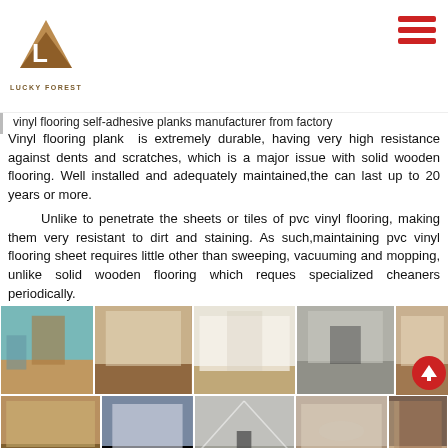Lucky Forest logo and navigation
vinyl flooring self-adhesive planks manufacturer from factory
Vinyl flooring plank  is extremely durable, having very high resistance against dents and scratches, which is a major issue with solid wooden flooring. Well installed and adequately maintained,the can last up to 20 years or more.

Unlike to penetrate the sheets or tiles of pvc vinyl flooring, making them very resistant to dirt and staining. As such,maintaining pvc vinyl flooring sheet requires little other than sweeping, vacuuming and mopping, unlike solid wooden wooden flooring which reques specialized cheaners periodically.
PVC flooring decorate rendering:
[Figure (photo): Grid of room photos showing PVC vinyl flooring installations in various room settings including kitchens, living rooms, dining areas, and hallways — two rows of five photos each.]